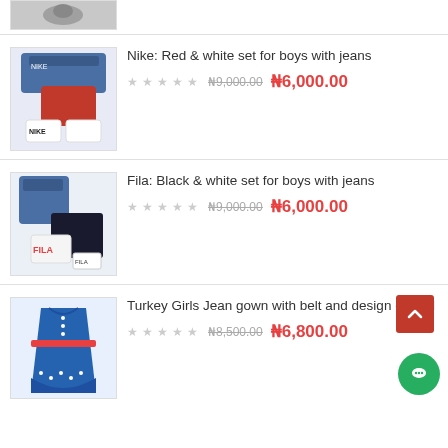[Figure (photo): Partial product image at top (cropped, pink/dark item)]
[Figure (photo): Nike red and white boys set with jeans clothing product image]
Nike: Red & white set for boys with jeans
₦9,000.00 ₦6,000.00
[Figure (photo): Fila black and white boys set with jeans clothing product image]
Fila: Black & white set for boys with jeans
₦9,000.00 ₦6,000.00
[Figure (photo): Turkey Girls Jean gown with belt and design - small, blue denim dress]
Turkey Girls Jean gown with belt and design - small
₦8,500.00 ₦6,800.00